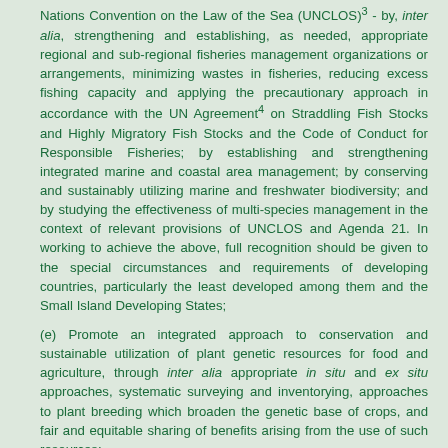Nations Convention on the Law of the Sea (UNCLOS)³ - by, inter alia, strengthening and establishing, as needed, appropriate regional and sub-regional fisheries management organizations or arrangements, minimizing wastes in fisheries, reducing excess fishing capacity and applying the precautionary approach in accordance with the UN Agreement⁴ on Straddling Fish Stocks and Highly Migratory Fish Stocks and the Code of Conduct for Responsible Fisheries; by establishing and strengthening integrated marine and coastal area management; by conserving and sustainably utilizing marine and freshwater biodiversity; and by studying the effectiveness of multi-species management in the context of relevant provisions of UNCLOS and Agenda 21. In working to achieve the above, full recognition should be given to the special circumstances and requirements of developing countries, particularly the least developed among them and the Small Island Developing States;
(e) Promote an integrated approach to conservation and sustainable utilization of plant genetic resources for food and agriculture, through inter alia appropriate in situ and ex situ approaches, systematic surveying and inventorying, approaches to plant breeding which broaden the genetic base of crops, and fair and equitable sharing of benefits arising from the use of such resources;
(f) Promote the conservation and sustainable utilization of animal genetic resources;